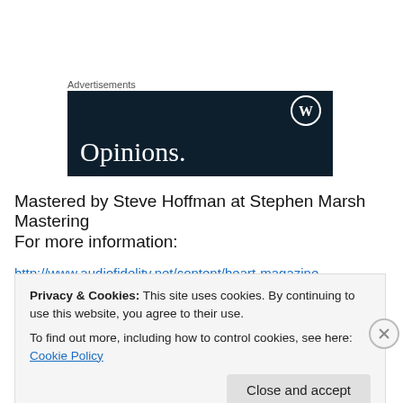Advertisements
[Figure (illustration): WordPress advertisement banner with dark navy background showing 'Opinions.' in white serif font and WordPress logo (W in circle) in top right corner]
Mastered by Steve Hoffman at Stephen Marsh Mastering
For more information:
http://www.audiofidelity.net/content/heart-magazine
Privacy & Cookies: This site uses cookies. By continuing to use this website, you agree to their use. To find out more, including how to control cookies, see here: Cookie Policy